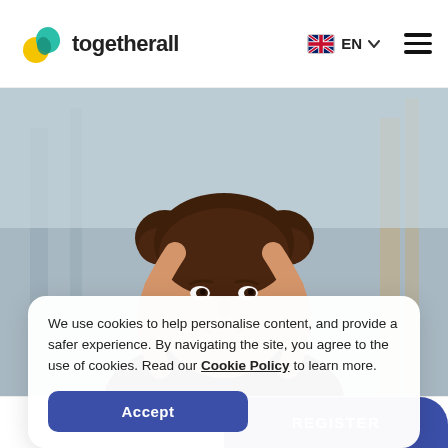togetherall — EN (language selector) — hamburger menu
[Figure (photo): Young woman with brown hair in two buns, smiling, wearing a black top, hands behind her head, outdoor background with blurred structure]
We use cookies to help personalise content, and provide a safer experience. By navigating the site, you agree to the use of cookies. Read our Cookie Policy to learn more.
Accept
LOGIN    REGISTER